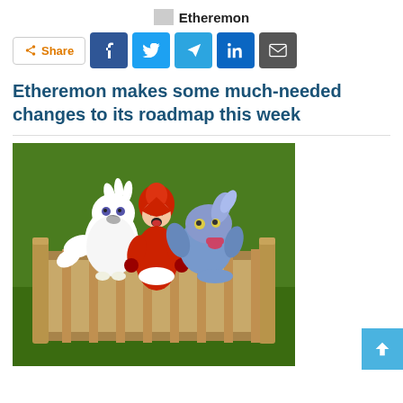Etheremon
[Figure (other): Share bar with social media buttons: Share, Facebook, Twitter, Telegram, LinkedIn, Email]
Etheremon makes some much-needed changes to its roadmap this week
[Figure (illustration): Etheremon game illustration showing three cartoon monster characters (a white bird-like creature, a red hooded character, and a blue fish-like creature) standing behind a wooden fence on a green background]